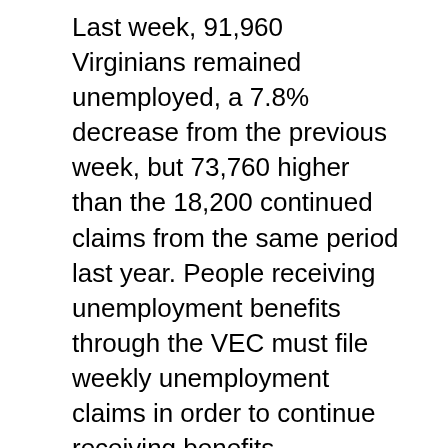Last week, 91,960 Virginians remained unemployed, a 7.8% decrease from the previous week, but 73,760 higher than the 18,200 continued claims from the same period last year. People receiving unemployment benefits through the VEC must file weekly unemployment claims in order to continue receiving benefits.
“Over half of claims were in the accommodation/food service, health care, administrative support and retail trade industries,” according to the VEC. “The continued claims total is mainly comprised of those recent initial claimants who continued to file for unemployment insurance benefits during